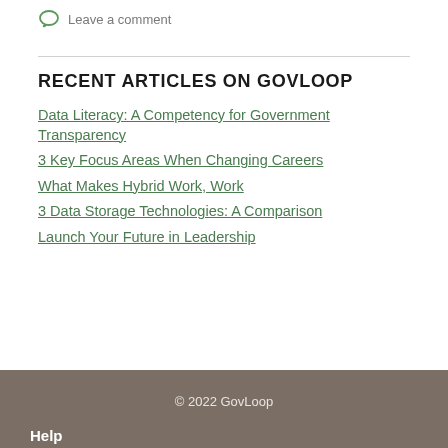Leave a comment
RECENT ARTICLES ON GOVLOOP
Data Literacy: A Competency for Government Transparency
3 Key Focus Areas When Changing Careers
What Makes Hybrid Work, Work
3 Data Storage Technologies: A Comparison
Launch Your Future in Leadership
© 2022 GovLoop
Help